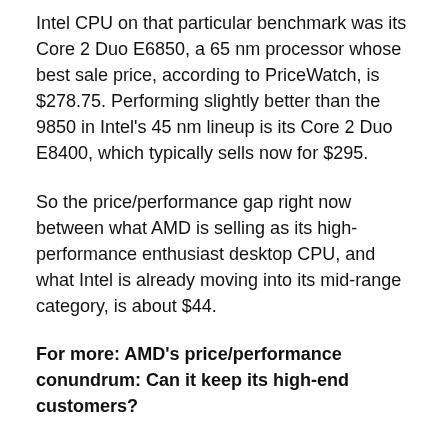Intel CPU on that particular benchmark was its Core 2 Duo E6850, a 65 nm processor whose best sale price, according to PriceWatch, is $278.75. Performing slightly better than the 9850 in Intel's 45 nm lineup is its Core 2 Duo E8400, which typically sells now for $295.
So the price/performance gap right now between what AMD is selling as its high-performance enthusiast desktop CPU, and what Intel is already moving into its mid-range category, is about $44.
For more: AMD's price/performance conundrum: Can it keep its high-end customers?
[Figure (infographic): Social sharing icons: Twitter, Facebook, LinkedIn, Email — circular outlined buttons in blue]